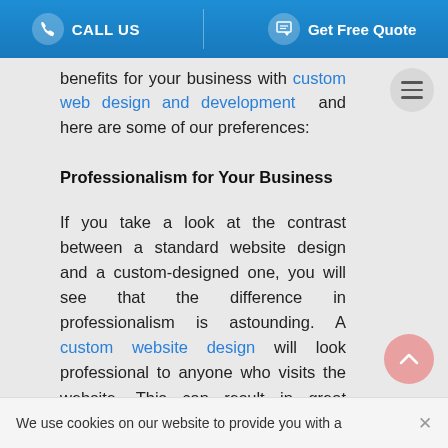CALL US | Get Free Quote
benefits for your business with custom web design and development and here are some of our preferences:
Professionalism for Your Business
If you take a look at the contrast between a standard website design and a custom-designed one, you will see that the difference in professionalism is astounding. A custom website design will look professional to anyone who visits the website. This can result in great conversions and leads simply because your business website seems more legitimate. The credibility of a
We use cookies on our website to provide you with a